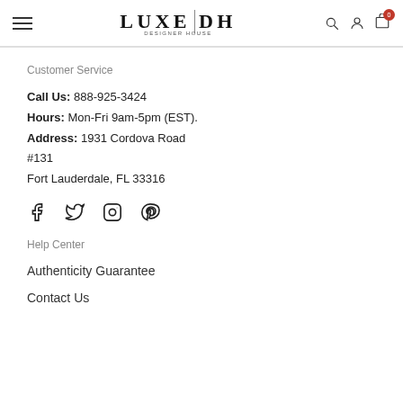LUXE DH DESIGNER HOUSE — navigation bar with hamburger menu, logo, search, account, cart (0)
Customer Service
Call Us: 888-925-3424
Hours: Mon-Fri 9am-5pm (EST).
Address: 1931 Cordova Road #131
Fort Lauderdale, FL 33316
[Figure (other): Social media icons: Facebook, Twitter, Instagram, Pinterest]
Help Center
Authenticity Guarantee
Contact Us